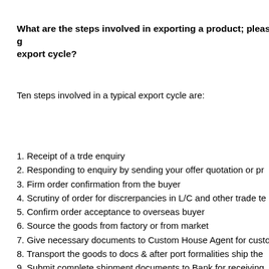What are the steps involved in exporting a product; please give the export cycle?
Ten steps involved in a typical export cycle are:
1. Receipt of a trde enquiry
2. Responding to enquiry by sending your offer quotation or pr
3. Firm order confirmation from the buyer
4. Scrutiny of order for discrerpancies in L/C and other trade te
5. Confirm order acceptance to overseas buyer
6. Source the goods from factory or from market
7. Give necessary documents to Custom House Agent for custo
8. Transport the goods to docs & after port formalities ship the
9. Submit complete shipment documents to Bank for receiving